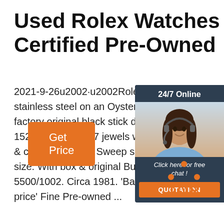Used Rolex Watches Certified Pre-Owned
2021-9-26u2002·u2002Rolex Airking Pr... stainless steel on an Oyster link bracele... factory original black stick dial. Moveme 1520, automatic 17 jewels with casebac & case Ref. 5500. Sweep seconds. 34 m size. With box & original Bucherer sales 5500/1002. Circa 1981. 'Bank Wire Only price' Fine Pre-owned ...
[Figure (photo): Chat widget with woman wearing headset, 24/7 Online header, Click here for free chat text, and orange QUOTATION button]
[Figure (illustration): Orange Get Price button]
[Figure (logo): TOP badge with orange dots forming triangle and orange TOP text]